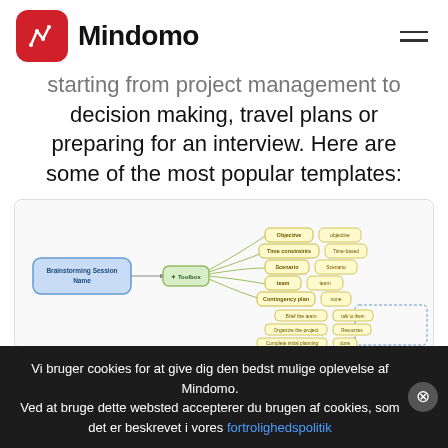Mindomo
starting from project management to decision making, travel plans or preparing for an interview. Here are some of the most popular templates:
[Figure (other): A mind map template screenshot showing a 'Brainstorming Session Name' central node connected to a 'Toolbox' node, which branches to: Objective, Time constraints, Scenario, team, Contingency plan, Brief the team, Organize the project, Complete initial planning — each with a secondary node.]
Vi bruger cookies for at give dig den bedst mulige oplevelse af Mindomo.
Ved at bruge dette websted accepterer du brugen af cookies, som det er beskrevet i vores fortrolighedspolitik